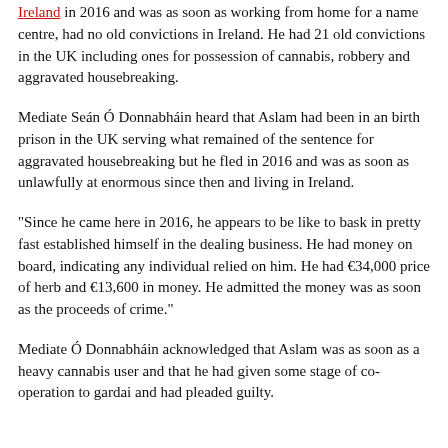Ireland in 2016 and was as soon as working from home for a name centre, had no old convictions in Ireland. He had 21 old convictions in the UK including ones for possession of cannabis, robbery and aggravated housebreaking.
Mediate Seán Ó Donnabháin heard that Aslam had been in an birth prison in the UK serving what remained of the sentence for aggravated housebreaking but he fled in 2016 and was as soon as unlawfully at enormous since then and living in Ireland.
“Since he came here in 2016, he appears to be like to bask in pretty fast established himself in the dealing business. He had money on board, indicating any individual relied on him. He had €34,000 price of herb and €13,600 in money. He admitted the money was as soon as the proceeds of crime.”
Mediate Ó Donnabháin acknowledged that Aslam was as soon as a heavy cannabis user and that he had given some stage of co-operation to gardai and had pleaded guilty.